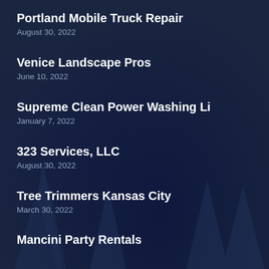Portland Mobile Truck Repair
August 30, 2022
Venice Landscape Pros
June 10, 2022
Supreme Clean Power Washing Li
January 7, 2022
323 Services, LLC
August 30, 2022
Tree Trimmers Kansas City
March 30, 2022
Mancini Party Rentals